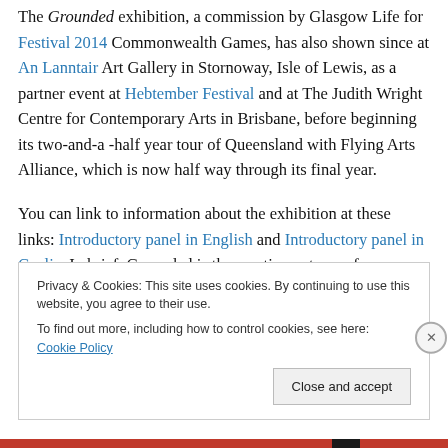The Grounded exhibition, a commission by Glasgow Life for Festival 2014 Commonwealth Games, has also shown since at An Lanntair Art Gallery in Stornoway, Isle of Lewis, as a partner event at Hebtember Festival and at The Judith Wright Centre for Contemporary Arts in Brisbane, before beginning its two-and-a -half year tour of Queensland with Flying Arts Alliance, which is now half way through its final year.
You can link to information about the exhibition at these links: Introductory panel in English and Introductory panel in Gaelic. In brief, Grounded is the creative outcome from...
Privacy & Cookies: This site uses cookies. By continuing to use this website, you agree to their use.
To find out more, including how to control cookies, see here: Cookie Policy